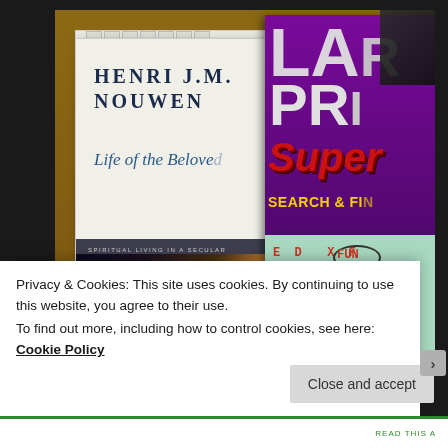[Figure (photo): Photo of two books on a wooden surface: 'Life of the Beloved' by Henri J.M. Nouwen (white cover with subtitle 'Spiritual Living in a Secular World') and a Large Print Super Search & Find word search puzzle book (purple cover with teal/green word search grid visible)]
Privacy & Cookies: This site uses cookies. By continuing to use this website, you agree to their use.
To find out more, including how to control cookies, see here: Cookie Policy
Close and accept